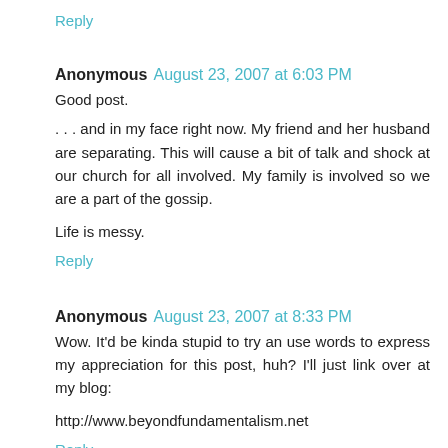Reply
Anonymous  August 23, 2007 at 6:03 PM
Good post.
. . . and in my face right now. My friend and her husband are separating. This will cause a bit of talk and shock at our church for all involved. My family is involved so we are a part of the gossip.

Life is messy.
Reply
Anonymous  August 23, 2007 at 8:33 PM
Wow. It'd be kinda stupid to try an use words to express my appreciation for this post, huh? I'll just link over at my blog:

http://www.beyondfundamentalism.net
Reply